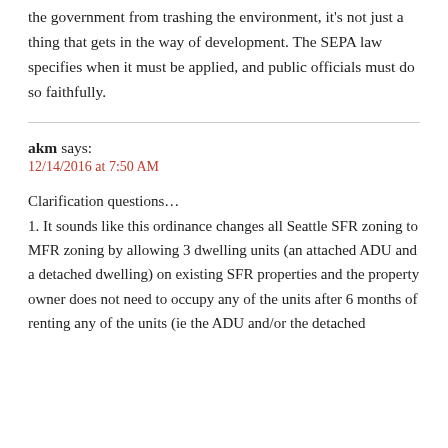the government from trashing the environment, it's not just a thing that gets in the way of development. The SEPA law specifies when it must be applied, and public officials must do so faithfully.
akm says:
12/14/2016 at 7:50 AM
Clarification questions… 1. It sounds like this ordinance changes all Seattle SFR zoning to MFR zoning by allowing 3 dwelling units (an attached ADU and a detached dwelling) on existing SFR properties and the property owner does not need to occupy any of the units after 6 months of renting any of the units (ie the ADU and/or the detached